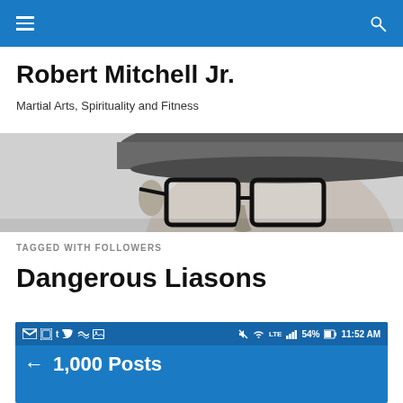Robert Mitchell Jr. — site navigation bar
Robert Mitchell Jr.
Martial Arts, Spirituality and Fitness
[Figure (photo): Black and white cropped photo of a person wearing glasses and a textured flat cap, shown from forehead to chin]
TAGGED WITH FOLLOWERS
Dangerous Liasons
[Figure (screenshot): Android phone status bar showing Gmail, apps, Twitter, Tumblr, weather icons on left; mute, WiFi, LTE, signal, 54% battery, 11:52 AM on right. Below it a blue bar with back arrow and '1,000 Posts' text.]